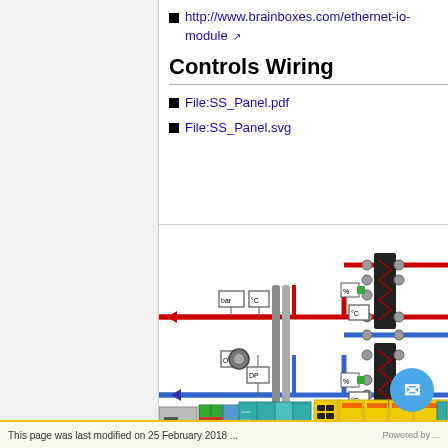http://www.brainboxes.com/ethernet-io-module [external link]
Controls Wiring
File:SS_Panel.pdf
File:SS_Panel.svg
[Figure (engineering-diagram): Controls wiring schematic showing piping with red (hot) and blue (cold/return) lines, temperature sensors (°C), pressure sensors (bar), differential pressure sensor (DP), a pump/motor (On), percentage indicators (%), and hardware control modules/switches at bottom including teal, green, and yellow DIN-rail modules.]
This page was last modified on 25 February 2018 ... Powered by ...